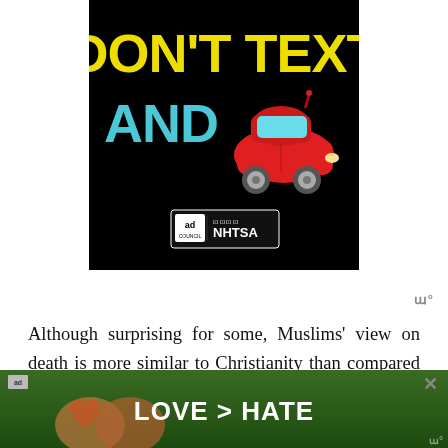[Figure (illustration): Ad Council / NHTSA 'Don't Text and Drive' public service announcement. Black background with yellow bold text 'DON'T TEXT', cyan/blue text 'AND', a red cartoon car emoji, and Ad Council + NHTSA logos at the bottom.]
ɯ°
Although surprising for some, Muslims' view on death is more similar to Christianity than compared to Hinduism. Muslims believe that there is a judgment day, and that the dead being's soul will eventually be separated from the physical body in the...
[Figure (photo): Bottom advertisement banner showing hands making a heart shape with green nature background and text 'LOVE > HATE' in white bold letters with a close button X.]